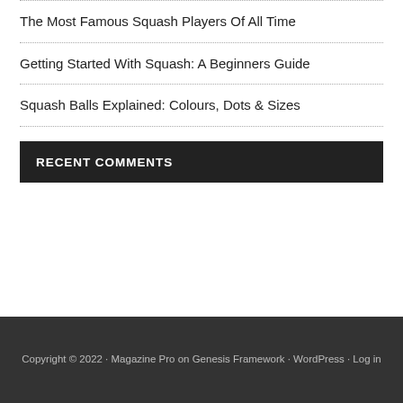The Most Famous Squash Players Of All Time
Getting Started With Squash: A Beginners Guide
Squash Balls Explained: Colours, Dots & Sizes
RECENT COMMENTS
Copyright © 2022 · Magazine Pro on Genesis Framework · WordPress · Log in